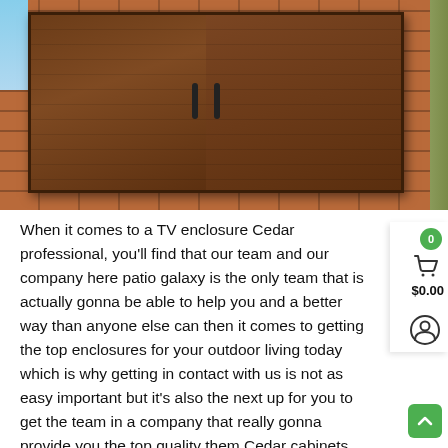[Figure (photo): Photo of wooden cedar TV enclosure cabinet with two doors and black handles, mounted on a brick wall exterior. A green-painted door trim is visible on the right edge, and a blue sky is visible in the top-left corner.]
When it comes to a TV enclosure Cedar professional, you'll find that our team and our company here patio galaxy is the only team that is actually gonna be able to help you and a better way than anyone else can then it comes to getting the top enclosures for your outdoor living today which is why getting in contact with us is not as easy important but it's also the next up for you to get the team in a company that really gonna provide you the top quality them Cedar cabinets for your outdoor services which is why checking out the website we offer you is really going to provide you with an easy way to see everything that were gonna be able to offer you to keep the continuation service.